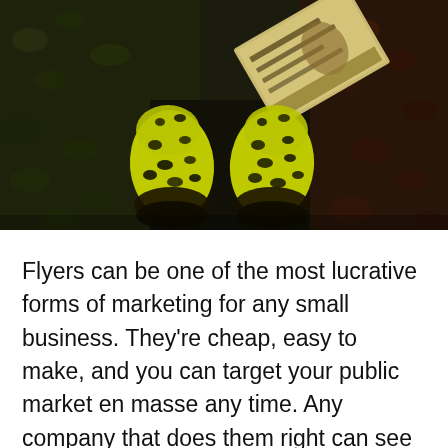[Figure (photo): Overhead/top-down photo of a person's feet wearing yellow leopard-print rubber clogs/shoes, standing on dark gravel/rocks. A flyer or booklet with text is visible in the upper right area of the frame, partially visible text appears to say something like 'give me a flying star'. The background consists of dark stones and gravel with some reddish-brown tones on the right side.]
Flyers can be one of the most lucrative forms of marketing for any small business. They're cheap, easy to make, and you can target your public market en masse any time. Any company that does them right can see a huge boost to business immediately. Especially if